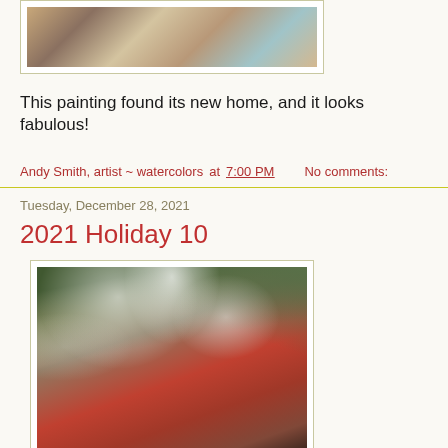[Figure (photo): Partial view of a painting showing a table setting with silver teapot and dining items on a white tablecloth]
This painting found its new home, and it looks fabulous!
Andy Smith, artist ~ watercolors at 7:00 PM    No comments:
Tuesday, December 28, 2021
2021 Holiday 10
[Figure (photo): Watercolor painting of a winter snow scene with bare trees, snow-covered branches, and a brick building in the background]